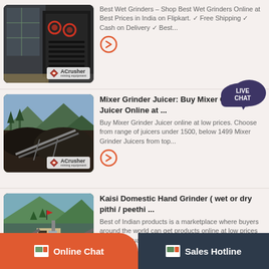[Figure (photo): ACrusher mining equipment photo 1 - industrial crusher machine indoors]
Best Wet Grinders – Shop Best Wet Grinders Online at Best Prices in India on Flipkart. ✓ Free Shipping ✓ Cash on Delivery ✓ Best...
[Figure (photo): ACrusher mining equipment photo 2 - outdoor quarry/crushing site with mountains]
Mixer Grinder Juicer: Buy Mixer Grinder Juicer Online at ...
Buy Mixer Grinder Juicer online at low prices. Choose from range of juicers under 1500, below 1499 Mixer Grinder Juicers from top...
[Figure (photo): ACrusher mining equipment photo 3 - outdoor quarry/crushing plant with green mountains]
Kaisi Domestic Hand Grinder ( wet or dry pithi / peethi ...
Best of Indian products is a marketplace where buyers around the world can get products online at low prices and good quality through seller...
Online Chat
Sales Hotline